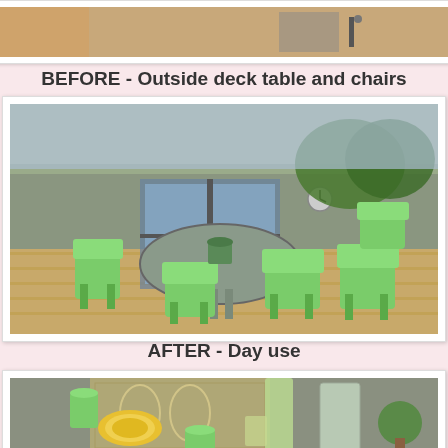[Figure (photo): Top partial photo - cropped image of outdoor scene, partially visible at top of page]
BEFORE - Outside deck table and chairs
[Figure (photo): Before photo: outdoor deck with round wooden table and green Adirondack chairs, French doors and trees in background]
AFTER  - Day use
[Figure (photo): After photo: table set for day use with yellow plates, green cups, patterned table runner, glass vases and centerpieces]